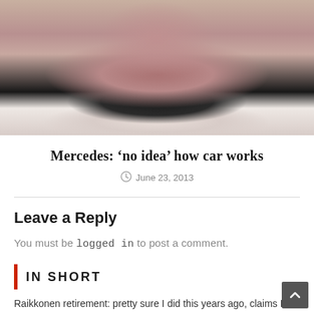[Figure (photo): Close-up photo of a man's face and upper torso, wearing a dark jacket and white shirt, with stubble on his chin.]
Mercedes: ‘no idea’ how car works
June 23, 2013
Leave a Reply
You must be logged in to post a comment.
IN SHORT
Raikkonen retirement: pretty sure I did this years ago, claims Finn